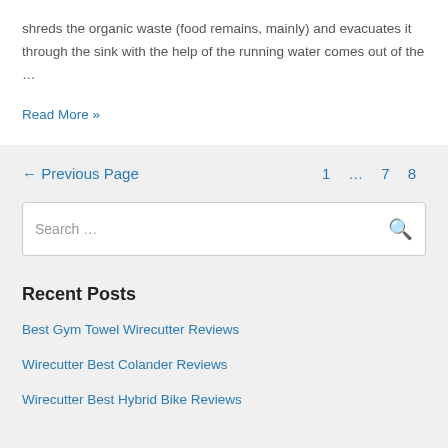shreds the organic waste (food remains, mainly) and evacuates it through the sink with the help of the running water comes out of the …
Read More »
← Previous Page    1    ...    7    8
Search …
Recent Posts
Best Gym Towel Wirecutter Reviews
Wirecutter Best Colander Reviews
Wirecutter Best Hybrid Bike Reviews